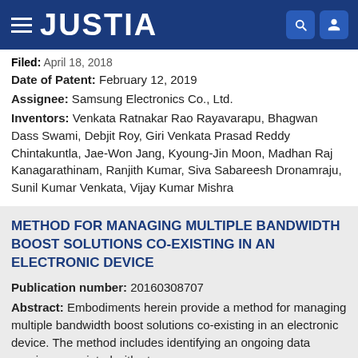JUSTIA
Filed: April 18, 2018
Date of Patent: February 12, 2019
Assignee: Samsung Electronics Co., Ltd.
Inventors: Venkata Ratnakar Rao Rayavarapu, Bhagwan Dass Swami, Debjit Roy, Giri Venkata Prasad Reddy Chintakuntla, Jae-Won Jang, Kyoung-Jin Moon, Madhan Raj Kanagarathinam, Ranjith Kumar, Siva Sabareesh Dronamraju, Sunil Kumar Venkata, Vijay Kumar Mishra
METHOD FOR MANAGING MULTIPLE BANDWIDTH BOOST SOLUTIONS CO-EXISTING IN AN ELECTRONIC DEVICE
Publication number: 20160308707
Abstract: Embodiments herein provide a method for managing multiple bandwidth boost solutions co-existing in an electronic device. The method includes identifying an ongoing data session associated with at